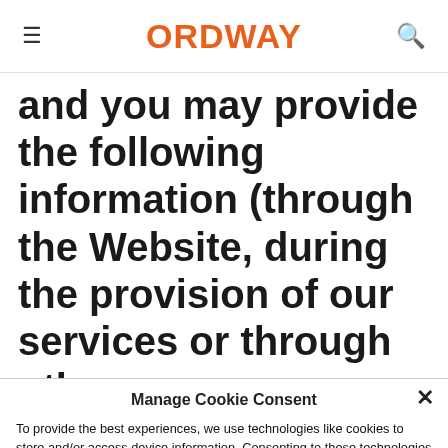ORDWAY
and you may provide the following information (through the Website, during the provision of our services or through other
Manage Cookie Consent
To provide the best experiences, we use technologies like cookies to store and/or access device information. Consenting to these technologies will allow us to process data such as browsing behavior or unique IDs on this site. Not consenting or withdrawing consent, may adversely affect certain features and functions.
Accept
Cookie Policy  Privacy Statement